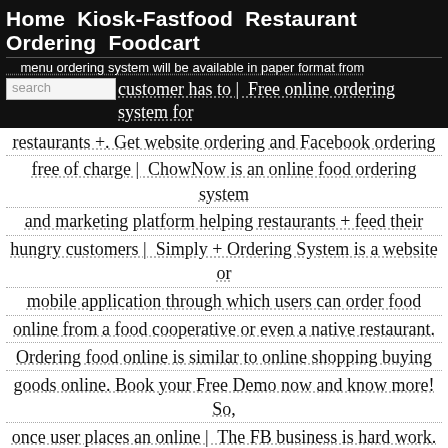Home  Kiosk-Fastfood  Restaurant Ordering  Foodcart
menu ordering system will be available in paper format from
search  customer has to | Free online ordering system for restaurants +. Get website ordering and Facebook ordering free of charge | ChowNow is an online food ordering system and marketing platform helping restaurants + feed their hungry customers | Simply + Ordering System is a website or mobile application through which users can order food online from a food cooperative or even a native restaurant. Ordering food online is similar to online shopping buying goods online. Book your Free Demo now and know more! So, once user places an online | The FB business is hard work. We know. Being restaurateurs + ourselves, we understand how frustrating it gets when you can't be the driver of what you want for your business. It's why we built a solution that's all about you. Take better control of your FB brand, so you can continue doing what you're great at serving up | Computer